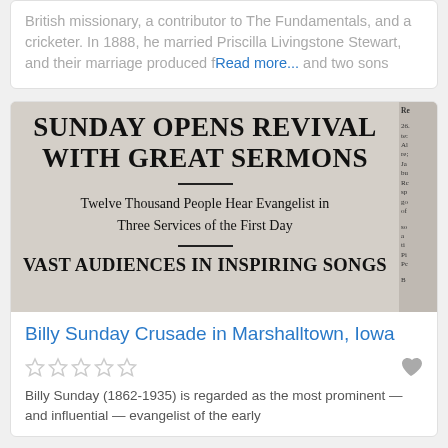British missionary, a contributor to The Fundamentals, and a cricketer. In 1888, he married Priscilla Livingstone Stewart, and their marriage produced f Read more... and two sons
[Figure (photo): Black and white newspaper clipping with large headline 'SUNDAY OPENS REVIVAL WITH GREAT SERMONS', subheadline 'Twelve Thousand People Hear Evangelist in Three Services of the First Day', and footer headline 'VAST AUDIENCES IN INSPIRING SONGS']
Billy Sunday Crusade in Marshalltown, Iowa
Billy Sunday (1862-1935) is regarded as the most prominent — and influential — evangelist of the early